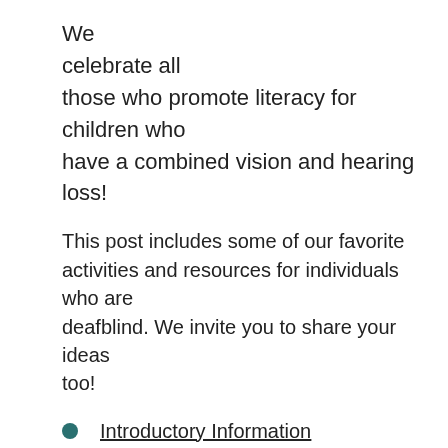We celebrate all those who promote literacy for children who have a combined vision and hearing loss!
This post includes some of our favorite activities and resources for individuals who are deafblind. We invite you to share your ideas too!
Introductory Information
Activity Ideas
Social Media
Historical Information